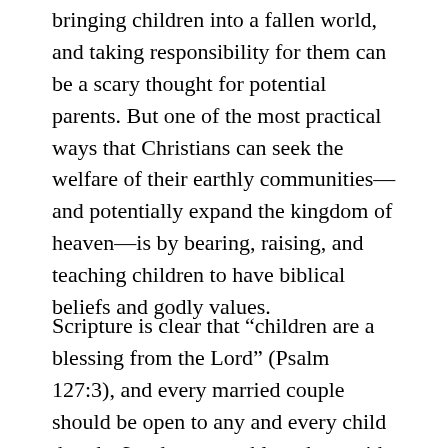bringing children into a fallen world, and taking responsibility for them can be a scary thought for potential parents. But one of the most practical ways that Christians can seek the welfare of their earthly communities—and potentially expand the kingdom of heaven—is by bearing, raising, and teaching children to have biblical beliefs and godly values.
Scripture is clear that “children are a blessing from the Lord” (Psalm 127:3), and every married couple should be open to any and every child that the Lord wants to bless them with, be it through natural means or adoption. This is not a posture readily embraced by our culture